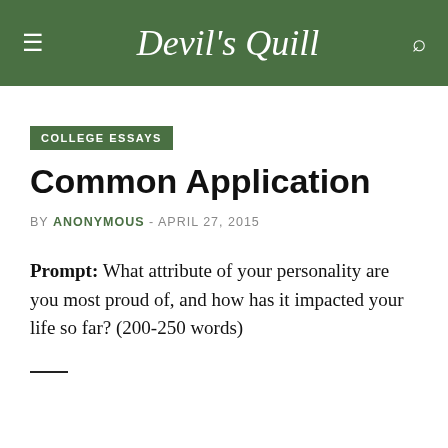Devil's Quill
COLLEGE ESSAYS
Common Application
BY ANONYMOUS - APRIL 27, 2015
Prompt: What attribute of your personality are you most proud of, and how has it impacted your life so far? (200-250 words)